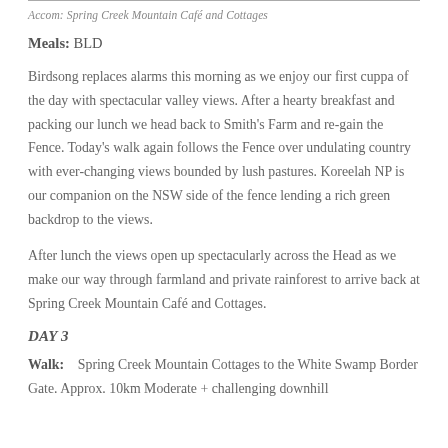Accom: Spring Creek Mountain Café and Cottages
Meals: BLD
Birdsong replaces alarms this morning as we enjoy our first cuppa of the day with spectacular valley views. After a hearty breakfast and packing our lunch we head back to Smith's Farm and re-gain the Fence. Today's walk again follows the Fence over undulating country with ever-changing views bounded by lush pastures. Koreelah NP is our companion on the NSW side of the fence lending a rich green backdrop to the views.
After lunch the views open up spectacularly across the Head as we make our way through farmland and private rainforest to arrive back at Spring Creek Mountain Café and Cottages.
DAY 3
Walk:   Spring Creek Mountain Cottages to the White Swamp Border Gate. Approx. 10km Moderate + challenging downhill